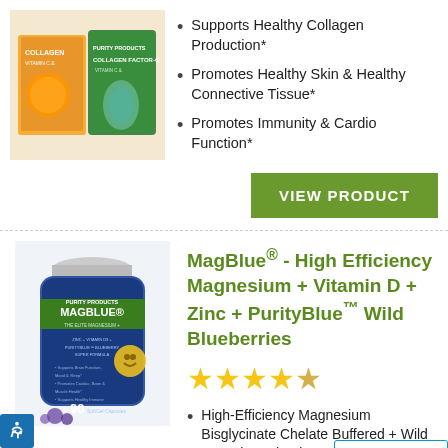[Figure (photo): Collagen Factor-C product boxes with oranges]
Supports Healthy Collagen Production*
Promotes Healthy Skin & Healthy Connective Tissue*
Promotes Immunity & Cardio Function*
VIEW PRODUCT
[Figure (photo): MagBlue supplement bottle, 90 capsules]
MagBlue® - High Efficiency Magnesium + Vitamin D + Zinc + PurityBlue™ Wild Blueberries
[Figure (other): 4.5 star rating]
High-Efficiency Magnesium Bisglycinate Chelate Buffered + Wild Organic PurityBlue™ Blueberries